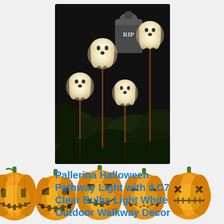[Figure (photo): Photo of glowing white ghost pathway lights with stakes in dark garden soil with foliage background, and a RIP tombstone decoration]
Pallerina Halloween Pathway Light with 4 C7 Clear Bulbs Light White Outdoor Walkway Decor
[Figure (illustration): Row of orange carved jack-o-lantern pumpkins with various face designs, partially overlapping the title text at the bottom of the page]